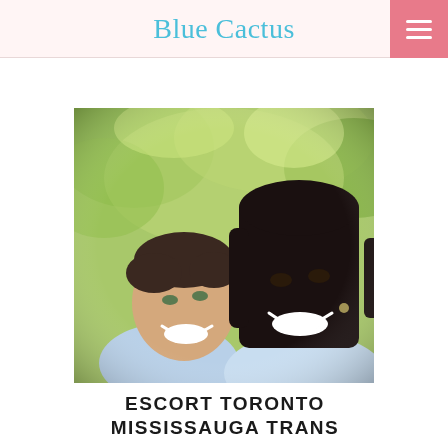Blue Cactus
[Figure (photo): Outdoor photo of a smiling couple against a blurred green tree background. A man with short dark hair looks upward smiling, and a woman with dark straight hair leans over him, also smiling. Both appear happy.]
ESCORT TORONTO MISSISSAUGA TRANS